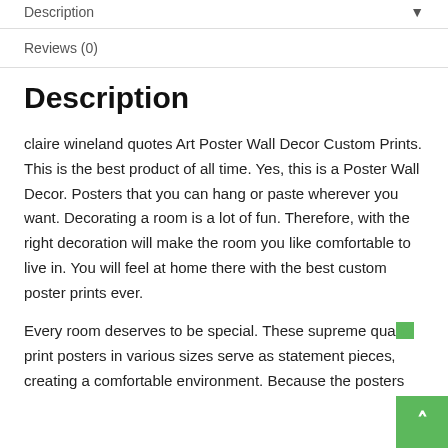Description
Reviews (0)
Description
claire wineland quotes Art Poster Wall Decor Custom Prints. This is the best product of all time. Yes, this is a Poster Wall Decor. Posters that you can hang or paste wherever you want. Decorating a room is a lot of fun. Therefore, with the right decoration will make the room you like comfortable to live in. You will feel at home there with the best custom poster prints ever.
Every room deserves to be special. These supreme quality print posters in various sizes serve as statement pieces, creating a comfortable environment. Because the posters